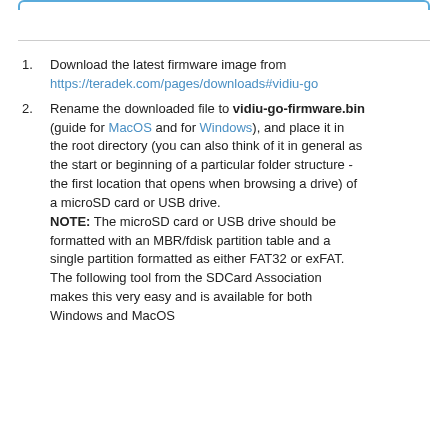Download the latest firmware image from https://teradek.com/pages/downloads#vidiu-go
Rename the downloaded file to vidiu-go-firmware.bin (guide for MacOS and for Windows), and place it in the root directory (you can also think of it in general as the start or beginning of a particular folder structure - the first location that opens when browsing a drive) of a microSD card or USB drive. NOTE: The microSD card or USB drive should be formatted with an MBR/fdisk partition table and a single partition formatted as either FAT32 or exFAT. The following tool from the SDCard Association makes this very easy and is available for both Windows and MacOS